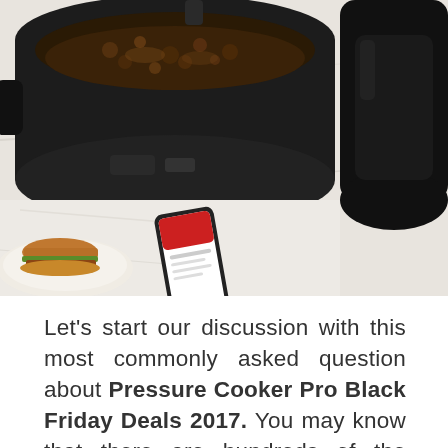[Figure (photo): Overhead/top-down photo of an Instant Pot pressure cooker filled with cooked food (dark braised meat or beans), sitting on a white marble countertop alongside a plate with a sandwich/taco, a smartphone with a red app screen open, and the cooker's black lid handle visible on the right.]
Let's start our discussion with this most commonly asked question about Pressure Cooker Pro Black Friday Deals 2017. You may know that there are hundreds of the pressure cooker products in the market and you want to select best for you home. Obviously you think